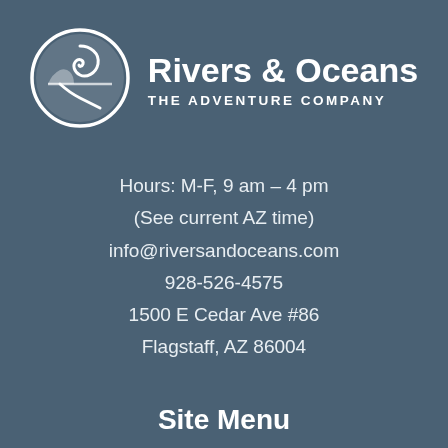[Figure (logo): Rivers & Oceans circular logo with wave/river graphic in white on teal-blue background]
Rivers & Oceans
THE ADVENTURE COMPANY
Hours: M-F, 9 am – 4 pm
(See current AZ time)
info@riversandoceans.com
928-526-4575
1500 E Cedar Ave #86
Flagstaff, AZ 86004
Site Menu
Grand Canyon Rafting